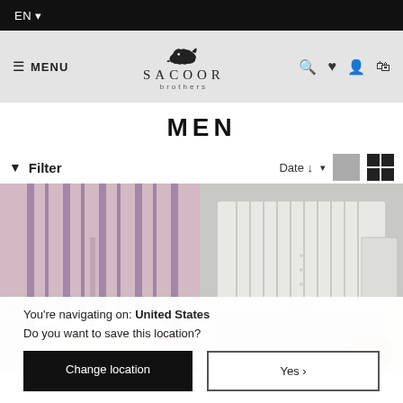EN ▾
[Figure (screenshot): Sacoor Brothers navigation bar with hamburger menu, logo with dog silhouette, and icons for search, wishlist, account, and cart]
MEN
▼ Filter    Date ↓ ▾    [view toggle buttons]
[Figure (photo): Two product photos side by side: left shows a man's torso in a pink/purple striped shirt with white pants; right shows a man's torso in a white striped shirt with light grey trousers and a belt]
You're navigating on: United States
Do you want to save this location?
Change location
Yes ›